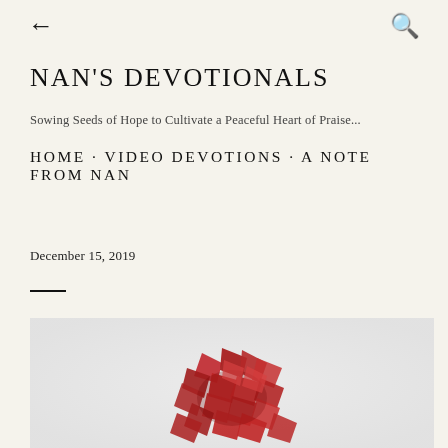← [back] [search icon]
NAN'S DEVOTIONALS
Sowing Seeds of Hope to Cultivate a Peaceful Heart of Praise...
HOME · VIDEO DEVOTIONS · A NOTE FROM NAN
December 15, 2019
[Figure (photo): A red decorative bow or ribbon pieces arranged in a pile on a light gray/white surface, viewed from above.]